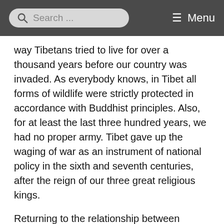Search ...   ≡ Menu
way Tibetans tried to live for over a thousand years before our country was invaded. As everybody knows, in Tibet all forms of wildlife were strictly protected in accordance with Buddhist principles. Also, for at least the last three hundred years, we had no proper army. Tibet gave up the waging of war as an instrument of national policy in the sixth and seventh centuries, after the reign of our three great religious kings.
Returning to the relationship between developing regional communities and the task of disarmament, I would like to suggest that the "heart" of each community could be one or more nations that have